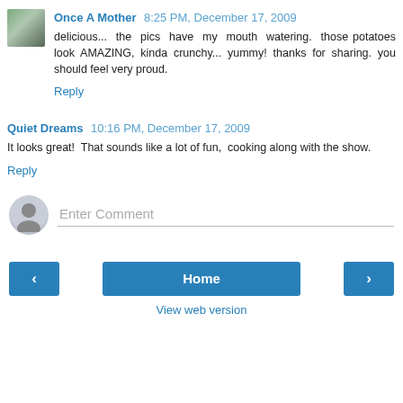Once A Mother  8:25 PM, December 17, 2009
delicious... the pics have my mouth watering. those potatoes look AMAZING, kinda crunchy... yummy! thanks for sharing. you should feel very proud.
Reply
Quiet Dreams  10:16 PM, December 17, 2009
It looks great! That sounds like a lot of fun, cooking along with the show.
Reply
Enter Comment
Home
View web version